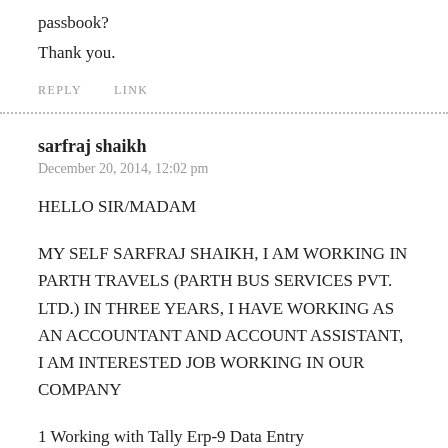passbook?
Thank you.
REPLY    LINK
sarfraj shaikh
December 20, 2014, 12:02 pm
HELLO SIR/MADAM
MY SELF SARFRAJ SHAIKH, I AM WORKING IN PARTH TRAVELS (PARTH BUS SERVICES PVT. LTD.) IN THREE YEARS, I HAVE WORKING AS AN ACCOUNTANT AND ACCOUNT ASSISTANT, I AM INTERESTED JOB WORKING IN OUR COMPANY
1 Working with Tally Erp-9 Data Entry
2 Accounts Invoicing data entry